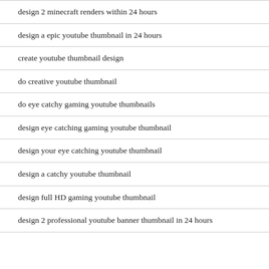design 2 minecraft renders within 24 hours
design a epic youtube thumbnail in 24 hours
create youtube thumbnail design
do creative youtube thumbnail
do eye catchy gaming youtube thumbnails
design eye catching gaming youtube thumbnail
design your eye catching youtube thumbnail
design a catchy youtube thumbnail
design full HD gaming youtube thumbnail
design 2 professional youtube banner thumbnail in 24 hours